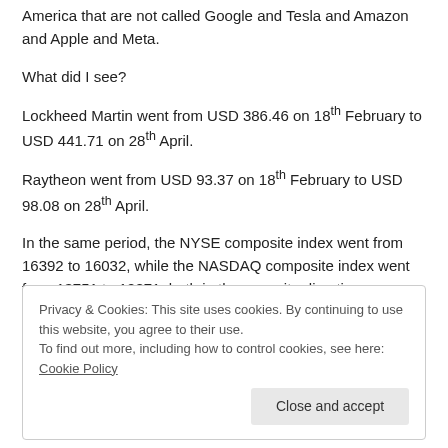America that are not called Google and Tesla and Amazon and Apple and Meta.
What did I see?
Lockheed Martin went from USD 386.46 on 18th February to USD 441.71 on 28th April.
Raytheon went from USD 93.37 on 18th February to USD 98.08 on 28th April.
In the same period, the NYSE composite index went from 16392 to 16032, while the NASDAQ composite index went from 13751 to 12871, both in the opposite direction.
The war started on 24th February, 2022.
Privacy & Cookies: This site uses cookies. By continuing to use this website, you agree to their use.
To find out more, including how to control cookies, see here: Cookie Policy